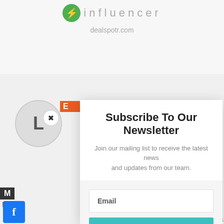[Figure (logo): Influencer/dealspotr.com logo with green circle and lightning bolt icon, gray 'influencer' text]
dealspotr.com
[Figure (screenshot): Background website content partially visible behind modal: circle avatar with 'L', E-logo icon, M block, EV text in orange, partial text lines. Facebook share button bottom left. 'HARES' text bottom right.]
Subscribe To Our Newsletter
Join our mailing list to receive the latest news and updates from our team.
Email
SUBSCRIBE!